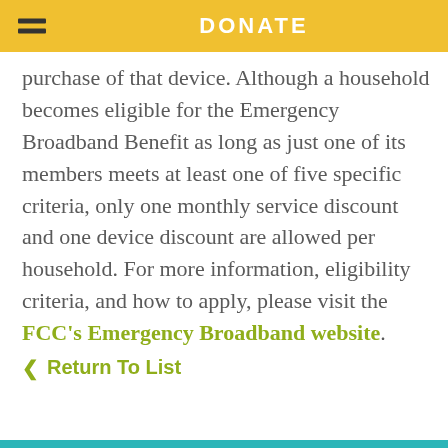DONATE
purchase of that device. Although a household becomes eligible for the Emergency Broadband Benefit as long as just one of its members meets at least one of five specific criteria, only one monthly service discount and one device discount are allowed per household. For more information, eligibility criteria, and how to apply, please visit the FCC's Emergency Broadband website.
< Return To List